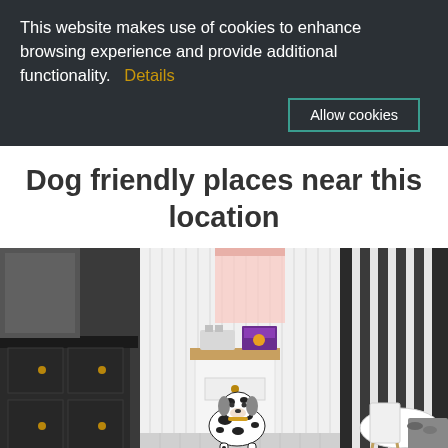This website makes use of cookies to enhance browsing experience and provide additional functionality.  Details
Allow cookies
Dog friendly places near this location
[Figure (photo): Interior photo of a bright white kitchen/dining area with a Dalmatian dog standing under a small wooden-topped white side table. The kitchen has white shaker-style cabinets with brass hardware on the left, white tongue-and-groove panelling on the walls, a toaster and a box on the side table, and a white dining table with a white chair and grey bench seating visible on the right.]